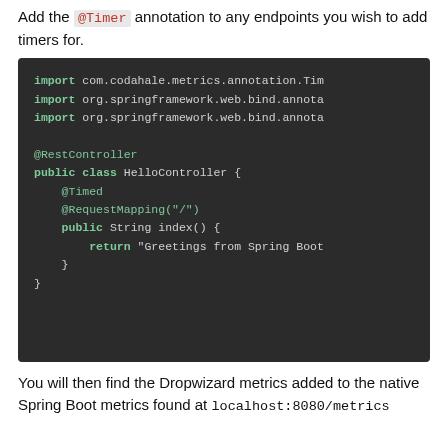Add the @Timer annotation to any endpoints you wish to add timers for.
[Figure (screenshot): Dark-themed code block showing Java code with import statements for com.codahale.metrics.annotation.Timer, org.springframework.web.bind.annotation (two imports), @RestController, public class HelloController with @Timed, @RequestMapping("/"), public String index() { return "Greetings from Spring Boot..."; } }]
You will then find the Dropwizard metrics added to the native Spring Boot metrics found at localhost:8080/metrics